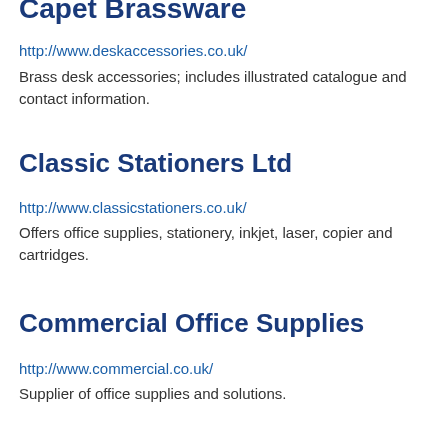Capet Brassware
http://www.deskaccessories.co.uk/
Brass desk accessories; includes illustrated catalogue and contact information.
Classic Stationers Ltd
http://www.classicstationers.co.uk/
Offers office supplies, stationery, inkjet, laser, copier and cartridges.
Commercial Office Supplies
http://www.commercial.co.uk/
Supplier of office supplies and solutions.